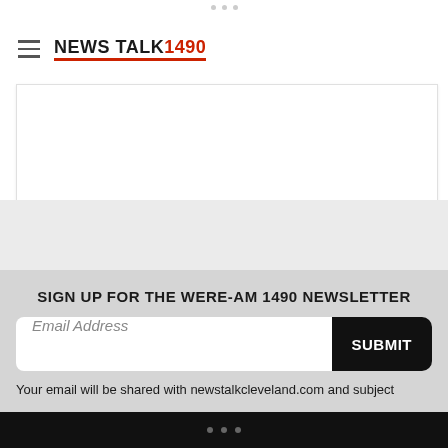NEWS TALK 1490
[Figure (screenshot): White content card placeholder area]
SIGN UP FOR THE WERE-AM 1490 NEWSLETTER
Email Address
SUBMIT
Your email will be shared with newstalkcleveland.com and subject